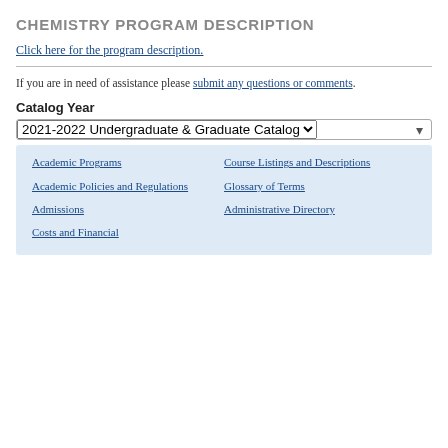CHEMISTRY PROGRAM DESCRIPTION
Click here for the program description.
If you are in need of assistance please submit any questions or comments.
Catalog Year
2021-2022 Undergraduate & Graduate Catalog
Academic Programs
Course Listings and Descriptions
Academic Policies and Regulations
Glossary of Terms
Admissions
Administrative Directory
Costs and Financial